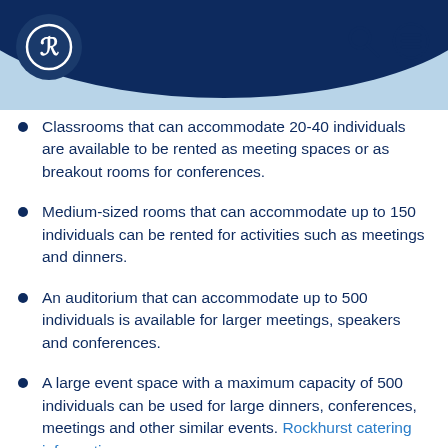[Figure (logo): Rockhurst University logo — stylized R in a circle on dark navy background with light blue header bar and search/menu icons top right]
Classrooms that can accommodate 20-40 individuals are available to be rented as meeting spaces or as breakout rooms for conferences.
Medium-sized rooms that can accommodate up to 150 individuals can be rented for activities such as meetings and dinners.
An auditorium that can accommodate up to 500 individuals is available for larger meetings, speakers and conferences.
A large event space with a maximum capacity of 500 individuals can be used for large dinners, conferences, meetings and other similar events. Rockhurst catering information